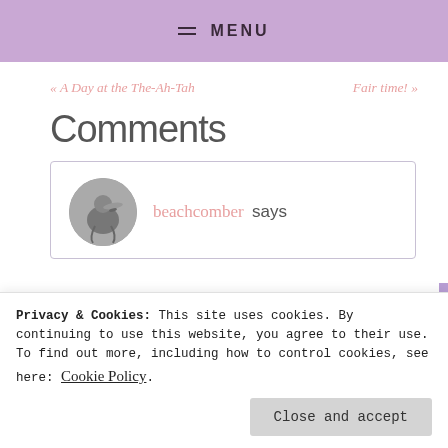MENU
« A Day at the The-Ah-Tah
Fair time! »
Comments
beachcomber says
Privacy & Cookies: This site uses cookies. By continuing to use this website, you agree to their use. To find out more, including how to control cookies, see here: Cookie Policy.
Close and accept